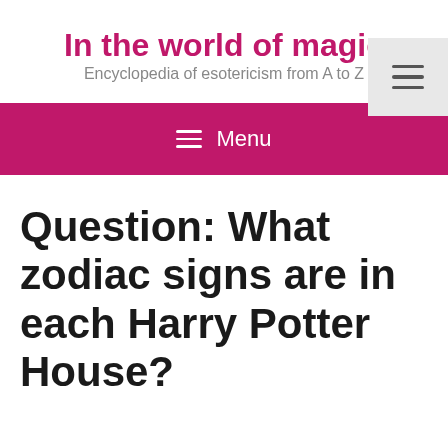In the world of magic — Encyclopedia of esotericism from A to Z
Question: What zodiac signs are in each Harry Potter House?